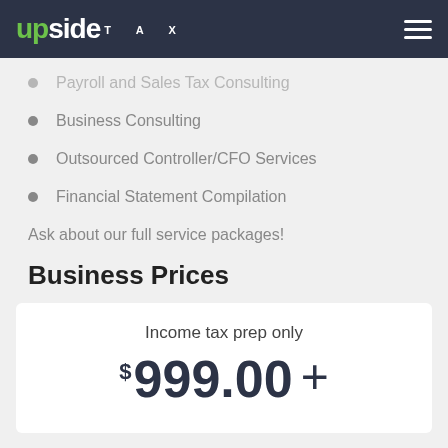Upside Tax
Payroll and Sales Tax Consulting
Business Consulting
Outsourced Controller/CFO Services
Financial Statement Compilation
Ask about our full service packages!
Business Prices
Income tax prep only
$999.00 +